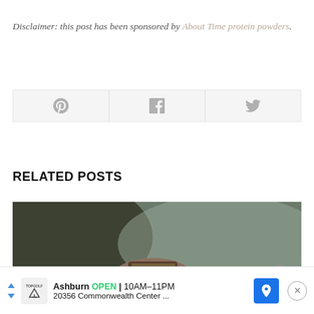Disclaimer: this post has been sponsored by About Time protein powders.
[Figure (other): Social sharing buttons row: Pinterest, Facebook, Twitter icons]
RELATED POSTS
[Figure (photo): Blurred close-up food/nature photo, brownish-green tones]
Ashburn OPEN 10AM-11PM 20356 Commonwealth Center ...